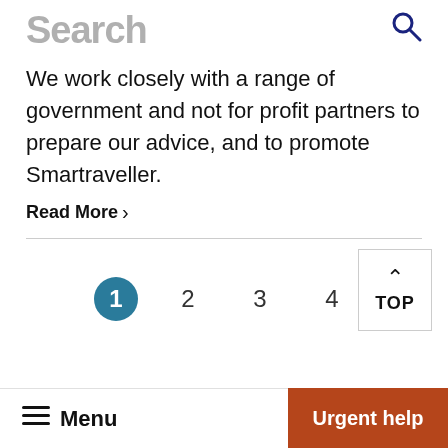Search
We work closely with a range of government and not for profit partners to prepare our advice, and to promote Smartraveller.
Read More >
1  2  3  4
Menu  Urgent help